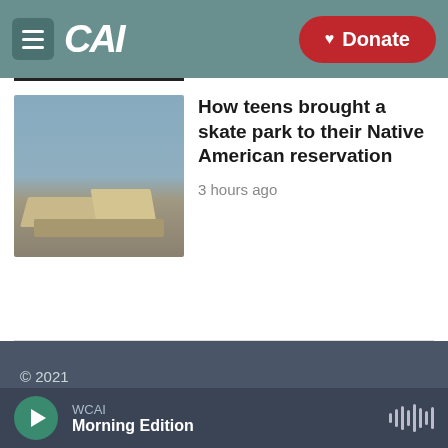CAI — Donate
[Figure (photo): Photo of teens at a skate park on a Native American reservation, with ramps and flat ground, under a cloudy sky.]
How teens brought a skate park to their Native American reservation
3 hours ago
© 2021
Privacy and Terms
Comments Policy
WCAI
Morning Edition